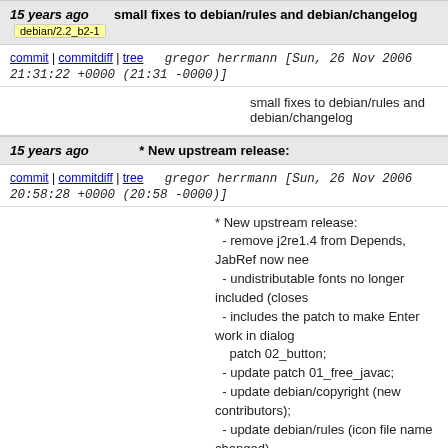15 years ago   small fixes to debian/rules and debian/changelog  debian/2.2_b2-1
commit | commitdiff | tree   gregor herrmann [Sun, 26 Nov 2006 21:31:22 +0000 (21:31 -0000)]
small fixes to debian/rules and debian/changelog
15 years ago   * New upstream release:
commit | commitdiff | tree   gregor herrmann [Sun, 26 Nov 2006 20:58:28 +0000 (20:58 -0000)]
* New upstream release:
 - remove j2re1.4 from Depends, JabRef now nee
 - undistributable fonts no longer included (closes
 - includes the patch to make Enter work in dialog   patch 02_button;
 - update patch 01_free_javac;
 - update debian/copyright (new contributors);
 - update debian/rules (icon file name changed).
15 years ago   Load /tmp/tmp.vjbgZ10456/jabref-2.2~b2 into  upstream/2.2_b2
commit | commitdiff | tree   gregor herrmann [Sun, 26 Nov 2006 20:29:57 +0000 (20:29 -0000)]